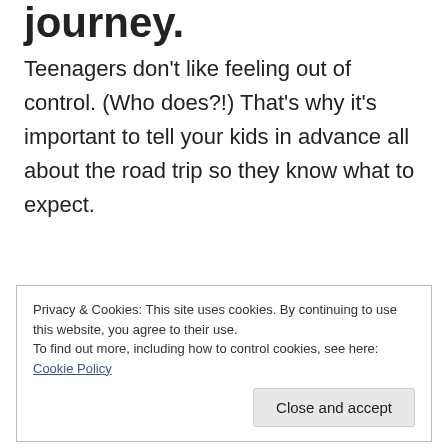journey.
Teenagers don't like feeling out of control. (Who does?!) That's why it's important to tell your kids in advance all about the road trip so they know what to expect.
Privacy & Cookies: This site uses cookies. By continuing to use this website, you agree to their use.
To find out more, including how to control cookies, see here: Cookie Policy